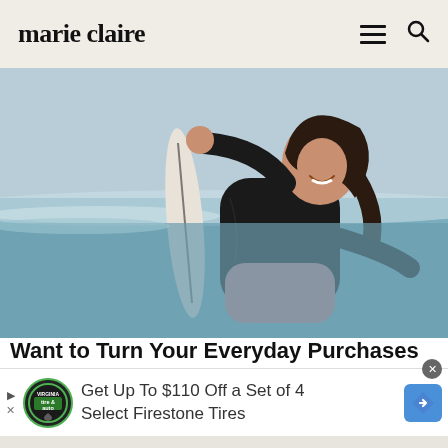marie claire
[Figure (photo): A smiling woman in a black and pink wetsuit holding a white surfboard at the beach, ocean waves visible in background]
Want to Turn Your Everyday Purchases Into Amazing Travel Perks?
Get Up To $110 Off a Set of 4 Select Firestone Tires